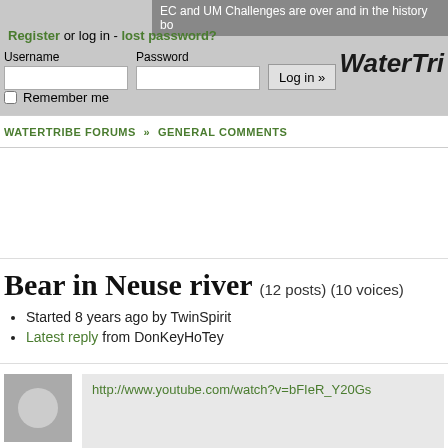EC and UM Challenges are over and in the history bo
Register or log in - lost password?
Username | Password | Log in »
Remember me
WaterTri
WATERTRIBE FORUMS » GENERAL COMMENTS
Bear in Neuse river (12 posts) (10 voices)
Started 8 years ago by TwinSpirit
Latest reply from DonKeyHoTey
http://www.youtube.com/watch?v=bFIeR_Y20Gs